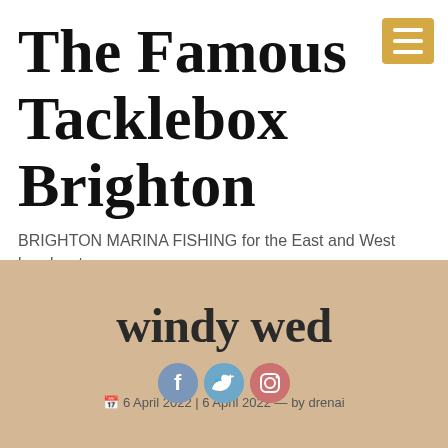The Famous Tacklebox Brighton
BRIGHTON MARINA FISHING for the East and West breakwaters
windy wed
6 April 2022 | 6 April 2022 — by drenai